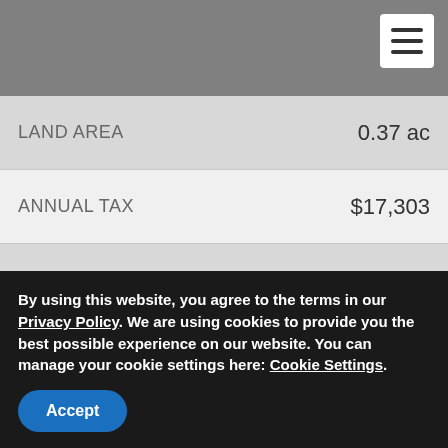| Property | Value |
| --- | --- |
| LAND AREA | 0.37 ac |
| ANNUAL TAX | $17,303 |
| YEAR BUILT | 1958 |
| TAX KEY | 3-6-9-4-32 |
| DAYS ON MARKET | 350 |
| VIEW | Ocean, Forest |
| ZONE | RS-10 |
| PRICE SQ/FT | $403.87 |
By using this website, you agree to the terms in our Privacy Policy. We are using cookies to provide you the best possible experience on our website. You can manage your cookie settings here: Cookie Settings.